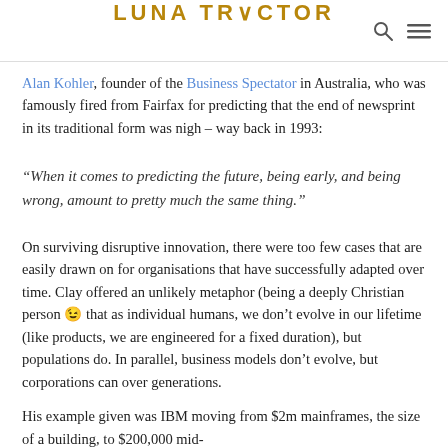LUNA TRACTOR
Alan Kohler, founder of the Business Spectator in Australia, who was famously fired from Fairfax for predicting that the end of newsprint in its traditional form was nigh – way back in 1993:
“When it comes to predicting the future, being early, and being wrong, amount to pretty much the same thing.”
On surviving disruptive innovation, there were too few cases that are easily drawn on for organisations that have successfully adapted over time. Clay offered an unlikely metaphor (being a deeply Christian person 😉 that as individual humans, we don’t evolve in our lifetime (like products, we are engineered for a fixed duration), but populations do. In parallel, business models don’t evolve, but corporations can over generations.
His example given was IBM moving from $2m mainframes, the size of a building, to $200,000 mid-